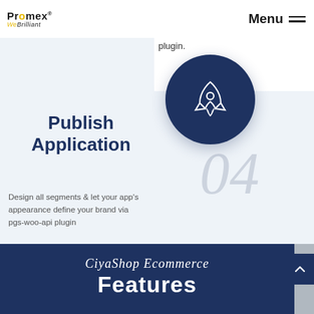Promex WeBrilliant | Menu
plugin.
[Figure (illustration): Dark navy blue circular icon with a rocket ship launching, white outline style]
Publish Application
04
Design all segments & let your app's appearance define your brand via pgs-woo-api plugin
CiyaShop Ecommerce Features